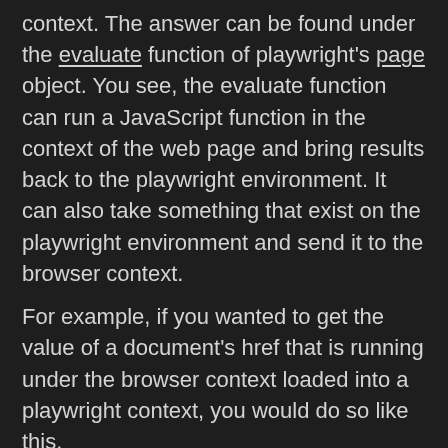context. The answer can be found under the evaluate function of playwright's page object. You see, the evaluate function can run a JavaScript function in the context of the web page and bring results back to the playwright environment. It can also take something that exist on the playwright environment and send it to the browser context.
For example, if you wanted to get the value of a document's href that is running under the browser context loaded into a playwright context, you would do so like this.
[Figure (screenshot): Code block showing: // After evaluation, href will have the sa...lu  const href = await page.evaluate(() => docu...t.l]
For more information see the playwright docs on